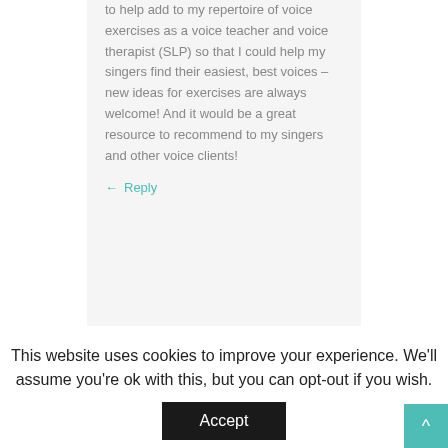to help add to my repertoire of voice exercises as a voice teacher and voice therapist (SLP) so that I could help my singers find their easiest, best voices – new ideas for exercises are always welcome! And it would be a great resource to recommend to my singers and other voice clients!
Reply
This website uses cookies to improve your experience. We'll assume you're ok with this, but you can opt-out if you wish.